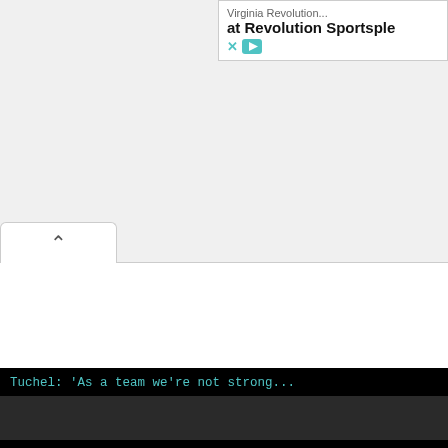[Figure (screenshot): Advertisement banner showing 'Virginia Revolution...' and 'at Revolution Sportsple' text with X and play button controls]
[Figure (photo): Photo area - Overachieving Chelsea player photo]
Overachieving. (Photo by Isabel Infantes/AFP/Getty Images)
Chelsea's energetic, fluid style of play and use of youth have earned them plaudits from all corners. Despite this, there are worrying signs that have emerged.
[Figure (screenshot): Video player bar with title: Tuchel: 'As a team we're not strong...']